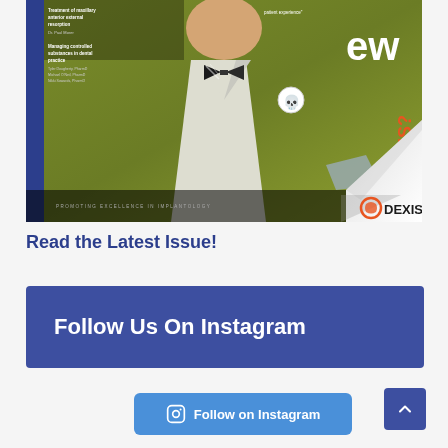[Figure (photo): Magazine cover showing a person in a green jacket with a black and white bow tie and skull pin badge. Cover features DEXIS branding and article teasers. Page curl effect visible at bottom right.]
Read the Latest Issue!
Follow Us On Instagram
Follow on Instagram